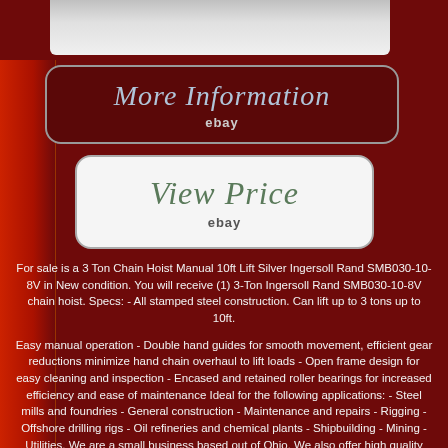[Figure (photo): Top portion of product image for 3 Ton Chain Hoist, partially visible at top of page]
More Information
ebay
View Price
ebay
For sale is a 3 Ton Chain Hoist Manual 10ft Lift Silver Ingersoll Rand SMB030-10-8V in New condition. You will receive (1) 3-Ton Ingersoll Rand SMB030-10-8V chain hoist. Specs: - All stamped steel construction. Can lift up to 3 tons up to 10ft.
Easy manual operation - Double hand guides for smooth movement, efficient gear reductions minimize hand chain overhaul to lift loads - Open frame design for easy cleaning and inspection - Encased and retained roller bearings for increased efficiency and ease of maintenance Ideal for the following applications: - Steel mills and foundries - General construction - Maintenance and repairs - Rigging - Offshore drilling rigs - Oil refineries and chemical plants - Shipbuilding - Mining - Utilities. We are a small business based out of Ohio. We also offer high quality business and industrial products at incredibly low prices. If you have any questions, we would love to hear from you! Thank you for visiting our store!